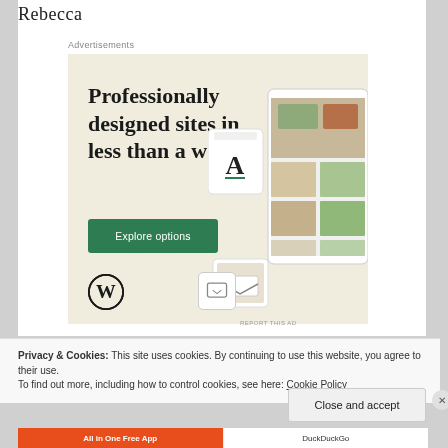Rebecca
Advertisements
[Figure (illustration): Advertisement banner: 'Professionally designed sites in less than a week' with green 'Explore options' button, WordPress logo, and device mockups showing website designs on beige background.]
REPORT THIS AD
Privacy & Cookies: This site uses cookies. By continuing to use this website, you agree to their use.
To find out more, including how to control cookies, see here: Cookie Policy
Close and accept